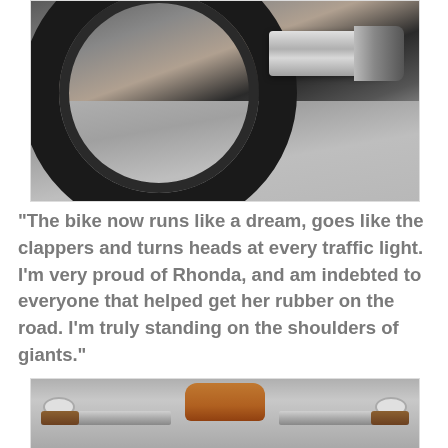[Figure (photo): Close-up photo of a motorcycle's rear wheel and chrome exhaust pipe, viewed from the side, on asphalt pavement.]
"The bike now runs like a dream, goes like the clappers and turns heads at every traffic light. I'm very proud of Rhonda, and am indebted to everyone that helped get her rubber on the road. I'm truly standing on the shoulders of giants."
[Figure (photo): Top-down photo of a custom motorcycle showing a tan/brown leather seat, chrome handlebars with wooden grips and round mirrors, on asphalt pavement.]